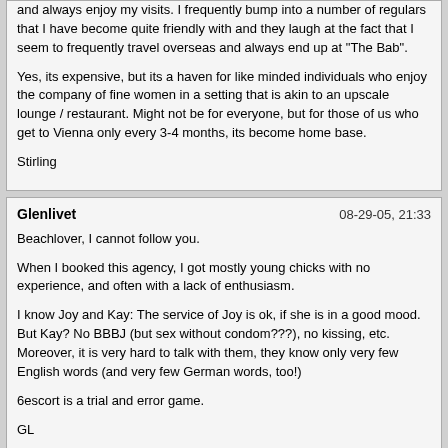and always enjoy my visits. I frequently bump into a number of regulars that I have become quite friendly with and they laugh at the fact that I seem to frequently travel overseas and always end up at "The Bab".

Yes, its expensive, but its a haven for like minded individuals who enjoy the company of fine women in a setting that is akin to an upscale lounge / restaurant. Might not be for everyone, but for those of us who get to Vienna only every 3-4 months, its become home base.

Stirling
Glenlivet  08-29-05, 21:33

Beachlover, I cannot follow you.

When I booked this agency, I got mostly young chicks with no experience, and often with a lack of enthusiasm.

I know Joy and Kay: The service of Joy is ok, if she is in a good mood. But Kay? No BBBJ (but sex without condom???), no kissing, etc. Moreover, it is very hard to talk with them, they know only very few English words (and very few German words, too!)

6escort is a trial and error game.

GL


In my experience http://www.6escort.at/ is the best and most reliable escort service in Vienna.

Booked there many times and have allways been happy with it.

Prices are € 120 an hour plus € 20 for the taxi. (+ € 30 for BBJ, * € 30 for taking pictures). At happy hour (after 01:00 pm) there is no taxi fee.

Kissing is usually included, but depends on the girl - some do not kiss. Better